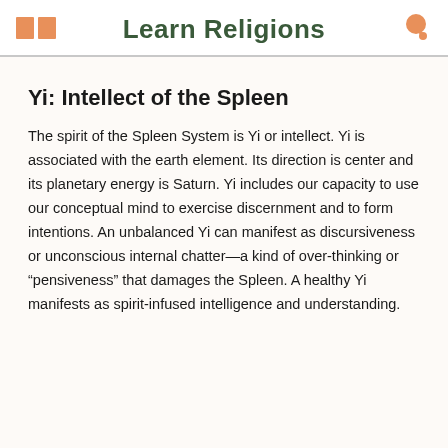Learn Religions
Yi: Intellect of the Spleen
The spirit of the Spleen System is Yi or intellect. Yi is associated with the earth element. Its direction is center and its planetary energy is Saturn. Yi includes our capacity to use our conceptual mind to exercise discernment and to form intentions. An unbalanced Yi can manifest as discursiveness or unconscious internal chatter—a kind of over-thinking or “pensiveness” that damages the Spleen. A healthy Yi manifests as spirit-infused intelligence and understanding.